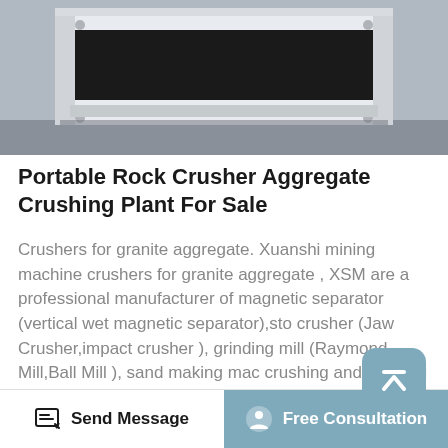[Figure (photo): Bottom portion of a portable rock crusher aggregate crushing plant machine, showing grey/white metal frame structure against a grey background]
Portable Rock Crusher Aggregate Crushing Plant For Sale
Crushers for granite aggregate. Xuanshi mining machine crushers for granite aggregate , XSM are a professional manufacturer of magnetic separator (vertical wet magnetic separator),sto crusher (Jaw Crusher,impact crusher ), grinding mill (Raymond Mill,Ball Mill ), sand making mac crushing and grinding free course on the system.Nov 10, 2021 Screening Plants Screening Plants For Sale Browse our large selection of new and used screening plants, not to be confused with...
Send Message   Free Consultation